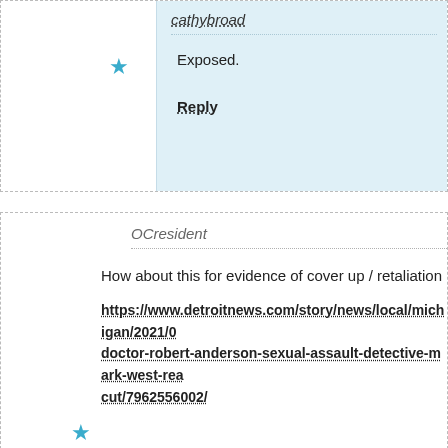cathybroad
Exposed.
Reply
OCresident
How about this for evidence of cover up / retaliation
https://www.detroitnews.com/story/news/local/michigan/2021/0 doctor-robert-anderson-sexual-assault-detective-mark-west-rea cut/7962556002/